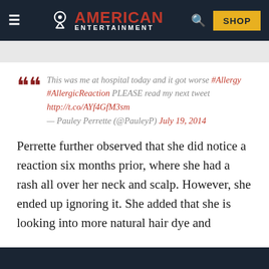American Entertainment — SHOP
This was me at hospital today and it got worse #Allergy #AllergicReaction PLEASE read my next tweet http://t.co/AYf4GfM3sm — Pauley Perrette (@PauleyP) July 19, 2014
Perrette further observed that she did notice a reaction six months prior, where she had a rash all over her neck and scalp. However, she ended up ignoring it. She added that she is looking into more natural hair dye and